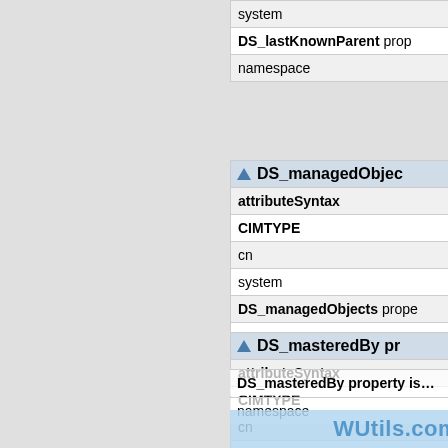| system |
| DS_lastKnownParent prop… |
| namespace |
| ▲ DS_managedObjec… |
| --- |
| attributeSyntax |
| CIMTYPE |
| cn |
| system |
| DS_managedObjects prope… |
| namespace |
| ▲ DS_masteredBy pr… |
| --- |
| attributeSyntax |
| CIMTYPE |
| cn |
| system |
| DS_masteredBy property is… |
| namespace |